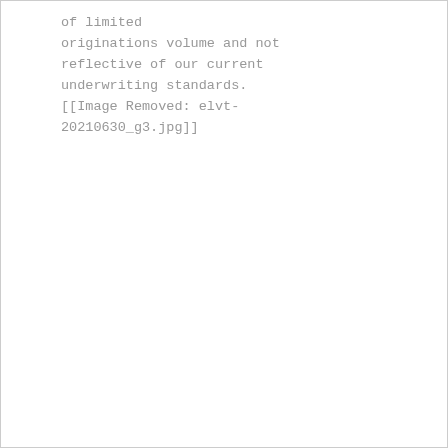of limited originations volume and not reflective of our current underwriting standards. [[Image Removed: elvt-20210630_g3.jpg]]